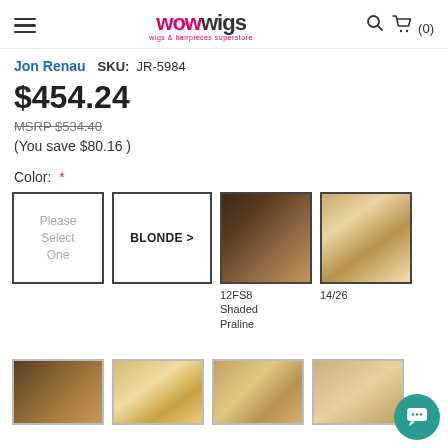wowwigs — wigs & hairpieces superstore, Search, Cart (0)
Jon Renau   SKU: JR-5984
$454.24
MSRP $534.40
(You save $80.16 )
Color: *
Please Select One | BLONDE > | 12FS8 Shaded Praline | 14/26
[Figure (photo): Hair color swatch 12FS8 Shaded Praline — dark brown root blending into warm caramel highlights]
[Figure (photo): Hair color swatch 14/26 — golden blonde with lighter highlights]
[Figure (photo): Four partial hair color swatches in the second row (colors not fully labeled)]